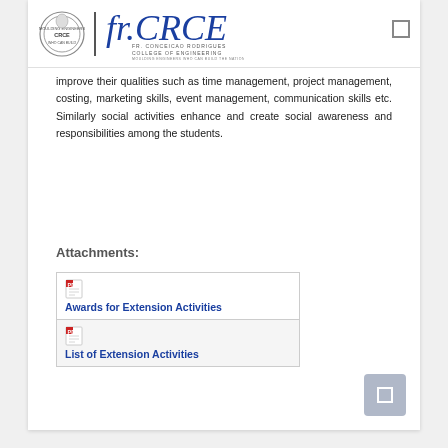[Figure (logo): Fr. Conceicao Rodrigues College of Engineering logo with circular emblem and stylized CRCE text]
improve their qualities such as time management, project management, costing, marketing skills, event management, communication skills etc. Similarly social activities enhance and create social awareness and responsibilities among the students.
Attachments:
Awards for Extension Activities
List of Extension Activities